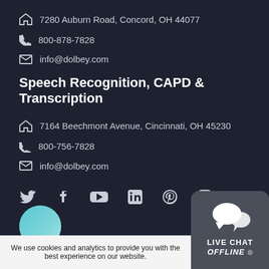7280 Auburn Road, Concord, OH 44077
800-878-7828
info@dolbey.com
Speech Recognition, CAPD & Transcription
7164 Beechmont Avenue, Cincinnati, OH 45230
800-756-7828
info@dolbey.com
[Figure (infographic): Social media icons row: Twitter, Facebook, YouTube, LinkedIn, Pinterest, Instagram]
[Figure (logo): Partial logo circle at bottom left]
We use cookies and analytics to provide you with the best experience on our website.
[Figure (infographic): Live Chat Offline widget in bottom right corner]